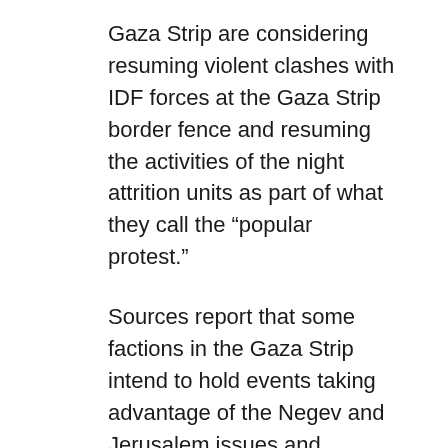Gaza Strip are considering resuming violent clashes with IDF forces at the Gaza Strip border fence and resuming the activities of the night attrition units as part of what they call the “popular protest.”
Sources report that some factions in the Gaza Strip intend to hold events taking advantage of the Negev and Jerusalem issues and organize two large rallies to mark “Land Day”, which will occur on March 30th, adding that the factions are considering holding activities in the Palestinian Authority as well.